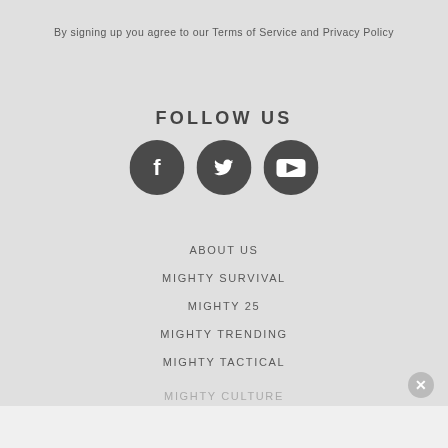By signing up you agree to our Terms of Service and Privacy Policy
FOLLOW US
[Figure (illustration): Three circular dark grey social media icons: Facebook (f), Twitter (bird), YouTube (play button)]
ABOUT US
MIGHTY SURVIVAL
MIGHTY 25
MIGHTY TRENDING
MIGHTY TACTICAL
MIGHTY CULTURE